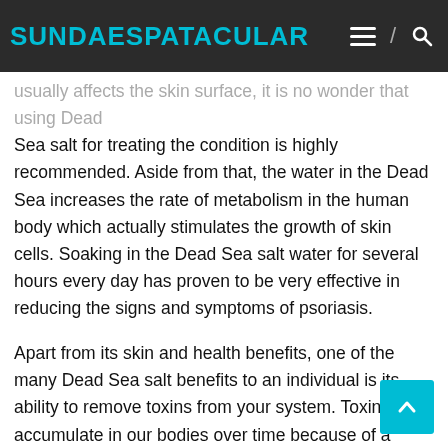SUNDAESPATACULAR
usually affects the skin surface, it is no wonder that using Dead Sea salt for treating the condition is highly recommended. Aside from that, the water in the Dead Sea increases the rate of metabolism in the human body which actually stimulates the growth of skin cells. Soaking in the Dead Sea salt water for several hours every day has proven to be very effective in reducing the signs and symptoms of psoriasis.
Apart from its skin and health benefits, one of the many Dead Sea salt benefits to an individual is its ability to remove toxins from your system. Toxins accumulate in our bodies over time because of a number of reasons including improper diet and exposure to environmental factors. The water contained in the Dead Sea helps to flush out these toxins which makes our bodies more healthy and free from a lot of harmful elements. One way to achieve this is by soaking in the Dead Sea salt water.
Once you have soaked in the Dead Sea salt water for several